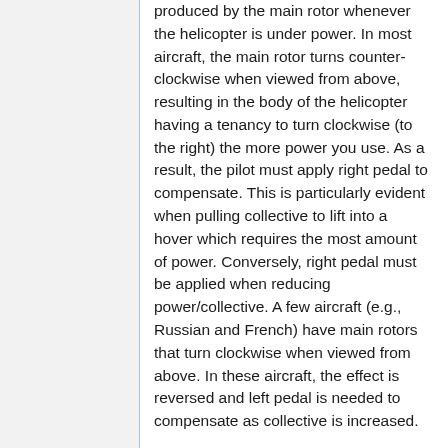produced by the main rotor whenever the helicopter is under power. In most aircraft, the main rotor turns counter-clockwise when viewed from above, resulting in the body of the helicopter having a tenancy to turn clockwise (to the right) the more power you use. As a result, the pilot must apply right pedal to compensate. This is particularly evident when pulling collective to lift into a hover which requires the most amount of power. Conversely, right pedal must be applied when reducing power/collective. A few aircraft (e.g., Russian and French) have main rotors that turn clockwise when viewed from above. In these aircraft, the effect is reversed and left pedal is needed to compensate as collective is increased.
In aircraft with tandem rotors such as the